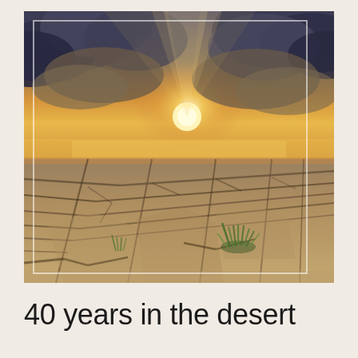[Figure (photo): Cracked dry desert earth with deep fissures, a small tuft of green grass growing between the cracks, and a dramatic sunset sky with glowing golden light breaking through dark storm clouds in the background. A faint white rectangular border is overlaid on the image.]
40 years in the desert